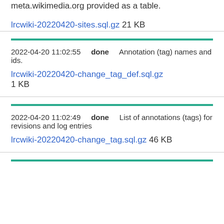meta.wikimedia.org provided as a table.
lrcwiki-20220420-sites.sql.gz 21 KB
2022-04-20 11:02:55   done   Annotation (tag) names and ids.
lrcwiki-20220420-change_tag_def.sql.gz 1 KB
2022-04-20 11:02:49   done   List of annotations (tags) for revisions and log entries
lrcwiki-20220420-change_tag.sql.gz 46 KB